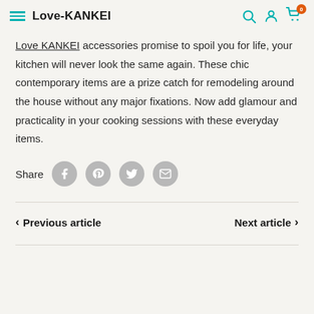Love-KANKEI
Love KANKEI accessories promise to spoil you for life, your kitchen will never look the same again. These chic contemporary items are a prize catch for remodeling around the house without any major fixations. Now add glamour and practicality in your cooking sessions with these everyday items.
Share
Previous article
Next article